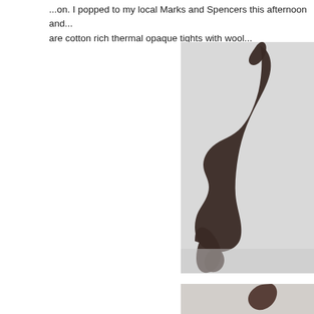...on. I popped to my local Marks and Spencers this afternoon and... are cotton rich thermal opaque tights with wool...
[Figure (photo): Product photo of dark brown/black opaque tights modeled on a person's legs against a light grey background. The legs are posed with one leg raised upward and the other bent at the knee.]
[Figure (photo): Partial product photo of dark opaque tights, cropped at bottom of page.]